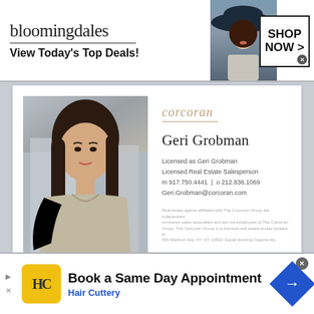[Figure (other): Bloomingdales advertisement banner: logo text, 'View Today's Top Deals!', woman in large hat, SHOP NOW button]
[Figure (photo): Corcoran real estate agent card featuring photo of Geri Grobman, a woman in beige dress, alongside Corcoran branding and contact information]
corcoran
Geri Grobman
Licensed as Geri Grobman
Licensed Real Estate Salesperson
m 917.750.4441  |  o 212.836.1069
Geri.Grobman@corcoran.com
Real estate agents affiliated with The Corcoran Group are independent contractor sales associates and are not employees of The Corcoran Group. The Corcoran Group is a licensed real estate broker located at 590 Madison Ave, NY, NY 10022. Equal Housing Opportunity.
[Figure (other): Hair Cuttery advertisement: Book a Same Day Appointment, Hair Cuttery logo and navigation arrow]